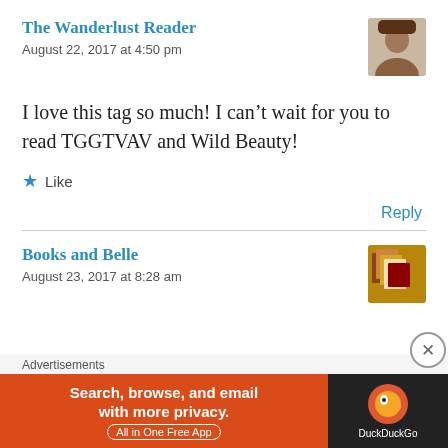The Wanderlust Reader
August 22, 2017 at 4:50 pm
I love this tag so much! I can't wait for you to read TGGTVAV and Wild Beauty!
Like
Reply
Books and Belle
August 23, 2017 at 8:28 am
Advertisements
Search, browse, and email with more privacy. All in One Free App DuckDuckGo